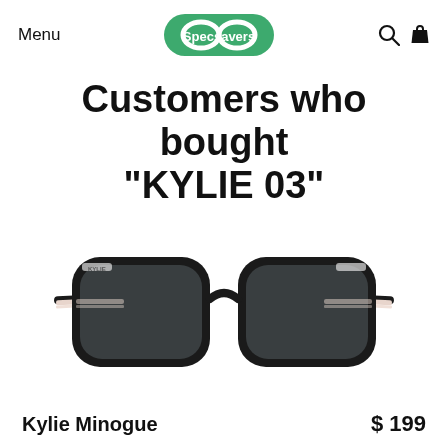Menu | Specsavers | Search | Cart
Customers who bought "KYLIE 03"
[Figure (photo): Photo of Kylie Minogue KYLIE 03 black eyeglasses frames with pink striped inner temples, front view on white background]
Kylie Minogue   $ 199